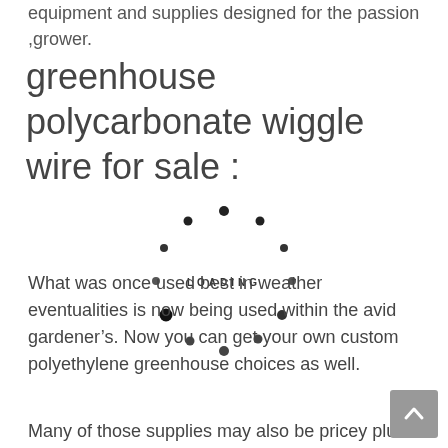equipment and supplies designed for the passion ,grower.
greenhouse polycarbonate wiggle wire for sale :
[Figure (other): A circular loading spinner animation with dots arranged in a circle and the word LOADING in the center]
What was once used best in weather eventualities is now being used within the avid gardener’s. Now you can get your own custom polyethylene greenhouse choices as well.
Many of those supplies may also be pricey plus its crucial for you to recognize what you